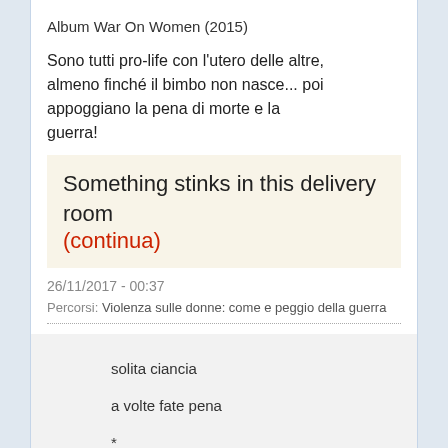Album War On Women (2015)
Sono tutti pro-life con l'utero delle altre, almeno finché il bimbo non nasce... poi appoggiano la pena di morte e la guerra!
Something stinks in this delivery room (continua)
26/11/2017 - 00:37
Percorsi: Violenza sulle donne: come e peggio della guerra
solita ciancia
a volte fate pena
*
date tutto il potere alle donne, sì!